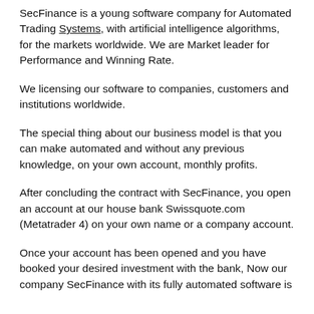SecFinance is a young software company for Automated Trading Systems, with artificial intelligence algorithms, for the markets worldwide. We are Market leader for Performance and Winning Rate.
We licensing our software to companies, customers and institutions worldwide.
The special thing about our business model is that you can make automated and without any previous knowledge, on your own account, monthly profits.
After concluding the contract with SecFinance, you open an account at our house bank Swissquote.com (Metatrader 4) on your own name or a company account.
Once your account has been opened and you have booked your desired investment with the bank, Now our company SecFinance with its fully automated software is